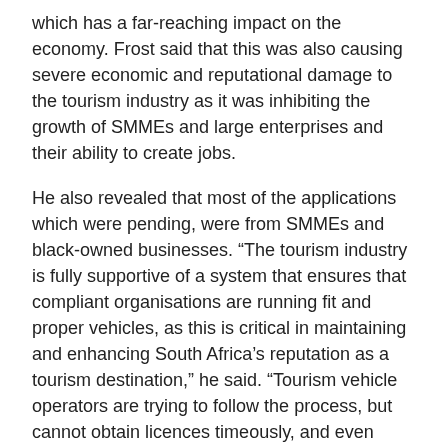which has a far-reaching impact on the economy. Frost said that this was also causing severe economic and reputational damage to the tourism industry as it was inhibiting the growth of SMMEs and large enterprises and their ability to create jobs.
He also revealed that most of the applications which were pending, were from SMMEs and black-owned businesses. “The tourism industry is fully supportive of a system that ensures that compliant organisations are running fit and proper vehicles, as this is critical in maintaining and enhancing South Africa’s reputation as a tourism destination,” he said. “Tourism vehicle operators are trying to follow the process, but cannot obtain licences timeously, and even worse, over the past two years not at all.
“They cannot hire additional staff because vehicles can’t operate, (and) instead of running and growing their